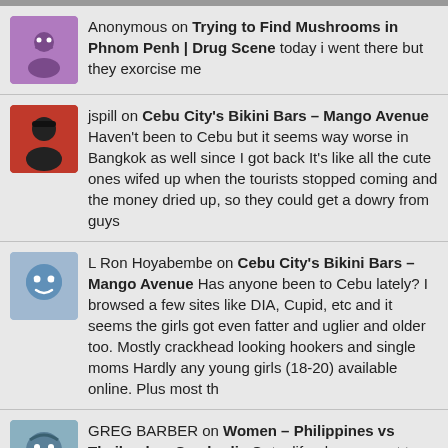Anonymous on Trying to Find Mushrooms in Phnom Penh | Drug Scene today i went there but they exorcise me
jspill on Cebu City's Bikini Bars – Mango Avenue Haven't been to Cebu but it seems way worse in Bangkok as well since I got back It's like all the cute ones wifed up when the tourists stopped coming and the money dried up, so they could get a dowry from guys
L Ron Hoyabembe on Cebu City's Bikini Bars – Mango Avenue Has anyone been to Cebu lately? I browsed a few sites like DIA, Cupid, etc and it seems the girls got even fatter and uglier and older too. Mostly crackhead looking hookers and single moms Hardly any young girls (18-20) available online. Plus most th
GREG BARBER on Women – Philippines vs Thailand vs Cambodia Get a life. do you want to build your life around your muscular development? How quick can you run 5 K's or is your